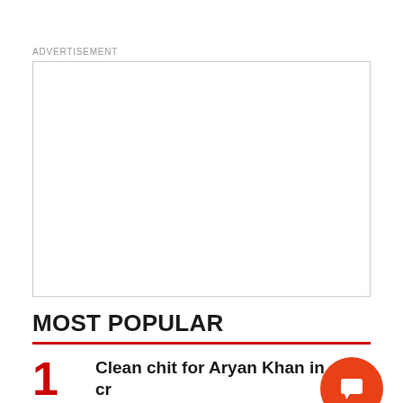ADVERTISEMENT
[Figure (other): Empty white advertisement box with light grey border]
MOST POPULAR
1 Clean chit for Aryan Khan in cruise drugs case